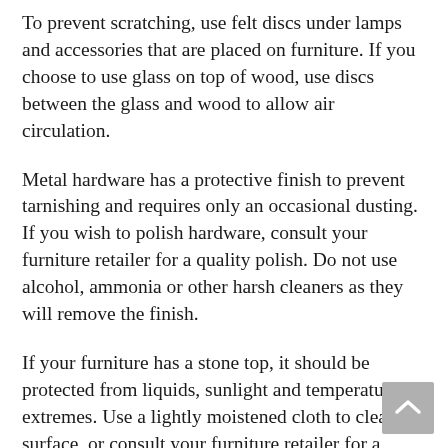To prevent scratching, use felt discs under lamps and accessories that are placed on furniture. If you choose to use glass on top of wood, use discs between the glass and wood to allow air circulation.
Metal hardware has a protective finish to prevent tarnishing and requires only an occasional dusting. If you wish to polish hardware, consult your furniture retailer for a quality polish. Do not use alcohol, ammonia or other harsh cleaners as they will remove the finish.
If your furniture has a stone top, it should be protected from liquids, sunlight and temperature extremes. Use a lightly moistened cloth to clean the surface, or consult your furniture retailer for a recommended marble polish. When in storage, the stone top should be stored flat, without heavy objects on it. M...